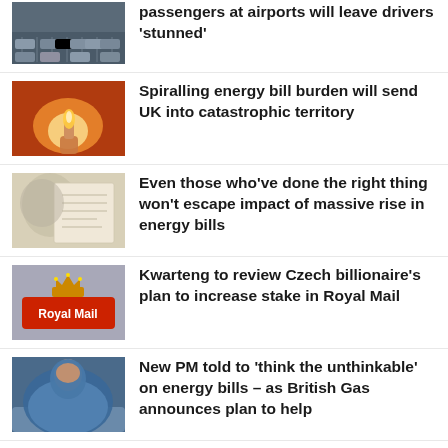passengers at airports will leave drivers 'stunned'
[Figure (photo): Aerial view of a parking lot at an airport]
Spiralling energy bill burden will send UK into catastrophic territory
[Figure (photo): Person lighting a gas burner]
Even those who've done the right thing won't escape impact of massive rise in energy bills
[Figure (photo): Person holding a letter, blurred face]
Kwarteng to review Czech billionaire's plan to increase stake in Royal Mail
[Figure (photo): Royal Mail sign with crown logo on red background]
New PM told to 'think the unthinkable' on energy bills – as British Gas announces plan to help
[Figure (photo): Person wrapped in a blue blanket sitting on a sofa]
Four-day working week trial at Atom bank has
[Figure (photo): Outdoor scene, partly visible at bottom]